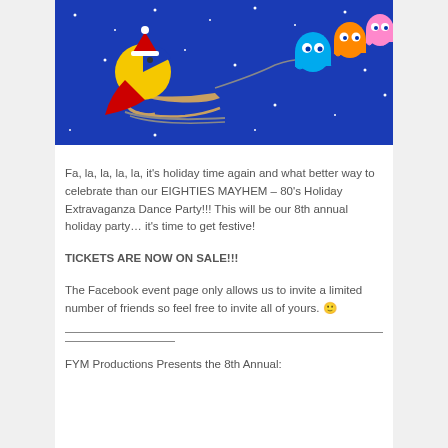[Figure (illustration): Holiday-themed Pac-Man illustration on dark blue starry background. Pac-Man dressed as Santa with red cape riding a sleigh, being pulled by colorful ghosts (blue, orange, pink) on a night sky with white stars.]
Fa, la, la, la, la, it's holiday time again and what better way to celebrate than our EIGHTIES MAYHEM – 80's Holiday Extravaganza Dance Party!!! This will be our 8th annual holiday party… it's time to get festive!
TICKETS ARE NOW ON SALE!!!
The Facebook event page only allows us to invite a limited number of friends so feel free to invite all of yours. 🙂
FYM Productions Presents the 8th Annual: